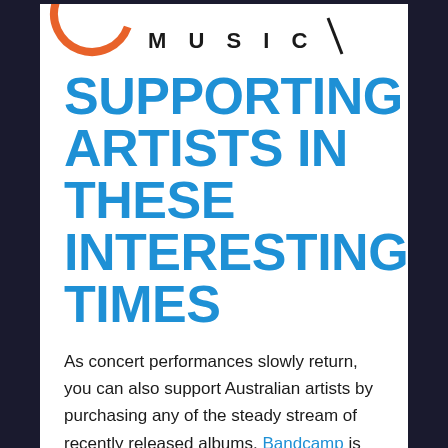[Figure (logo): Circular logo with orange partial circle and text 'MUSIC' in stylized lettering]
SUPPORTING ARTISTS IN THESE INTERESTING TIMES
As concert performances slowly return, you can also support Australian artists by purchasing any of the steady stream of recently released albums. Bandcamp is recommended by many musicians